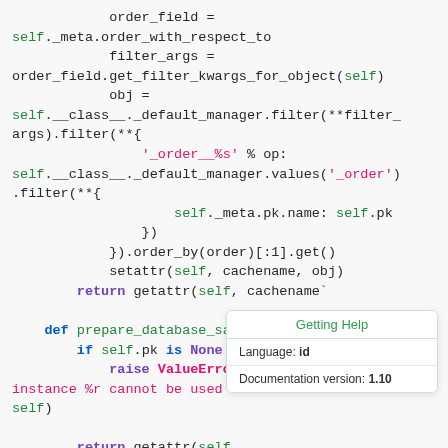[Figure (screenshot): Code snippet showing Python Django model methods with syntax highlighting (green, purple, red keywords) on a light gray background, with a 'Getting Help' tooltip overlay showing Language: id and Documentation version: 1.10]